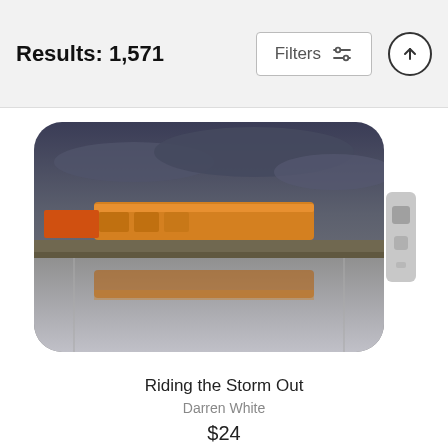Results: 1,571
Filters
[Figure (screenshot): Phone case product showing a train riding through a stormy landscape reflected in water, with camera bump visible on the right side.]
Riding the Storm Out
Darren White
$24
[Figure (screenshot): Phone case product showing a lighthouse at sunset with dramatic red and orange sky, with camera bump visible on the right side.]